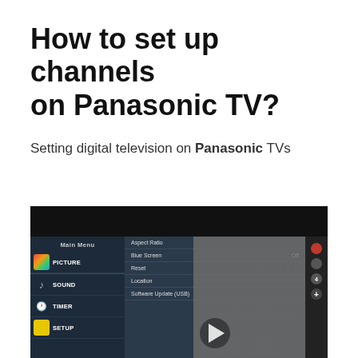How to set up channels on Panasonic TV?
Setting digital television on Panasonic TVs
[Figure (screenshot): A Panasonic TV screen showing the Main Menu with options including PICTURE, SOUND, TIMER, and SETUP. The menu panel on the right shows settings such as Aspect Ratio, Blue Screen (Off), Reset, Location, and Software Update (USB). The right portion of the screen shows TV static/noise. A play button overlay is visible in the center. A TV remote control is visible on the far right edge.]